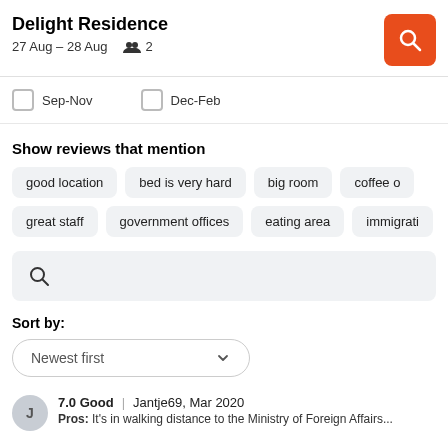Delight Residence
27 Aug – 28 Aug   2
Sep-Nov   Dec-Feb
Show reviews that mention
good location
bed is very hard
big room
coffee o...
great staff
government offices
eating area
immigrati...
Sort by:
Newest first
7.0 Good | Jantje69, Mar 2020
Pros: It's in walking distance to the Ministry of Foreign Affairs...